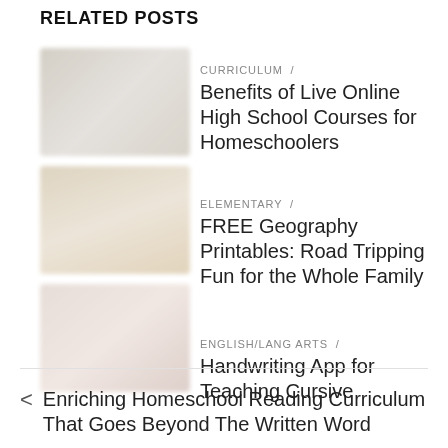RELATED POSTS
CURRICULUM / Benefits of Live Online High School Courses for Homeschoolers
ELEMENTARY / FREE Geography Printables: Road Tripping Fun for the Whole Family
ENGLISH/LANG ARTS / Handwriting App for Teaching Cursive
< Enriching Homeschool Reading Curriculum That Goes Beyond The Written Word